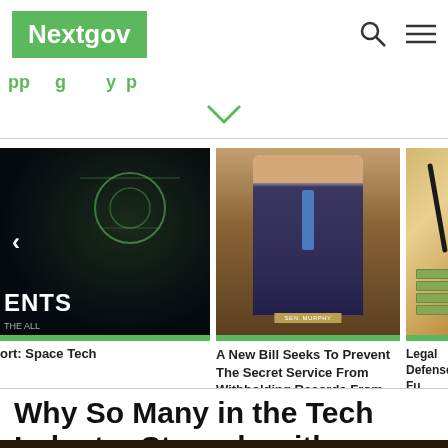Nextgov
[Figure (screenshot): Article card: partial image of space technology with text 'ENTS' and left arrow, headline: 'ort: Space Tech']
ort: Space Tech
[Figure (photo): Photo of a senator in a suit gesturing with thumb up at a Senate hearing, nameplate visible]
A New Bill Seeks To Prevent The Secret Service From Withholding Records From Its Watchdog
[Figure (photo): Photo of stacked US dollar bills with a pen on a wooden surface]
Legal Defense Fu... Former SBA CIO
Why So Many in the Tech Industry Struggle with Depression